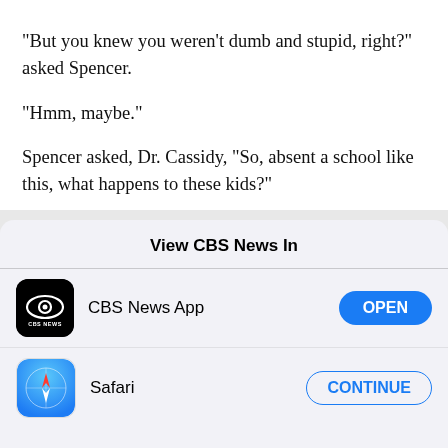"But you knew you weren't dumb and stupid, right?" asked Spencer.
"Hmm, maybe."
Spencer asked, Dr. Cassidy, "So, absent a school like this, what happens to these kids?"
View CBS News In
CBS News App
Safari